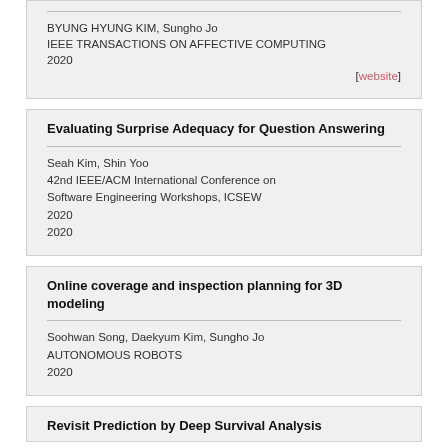BYUNG HYUNG KIM, Sungho Jo
IEEE TRANSACTIONS ON AFFECTIVE COMPUTING
2020
[website]
Evaluating Surprise Adequacy for Question Answering
Seah Kim, Shin Yoo
42nd IEEE/ACM International Conference on Software Engineering Workshops, ICSEW
2020
2020
Online coverage and inspection planning for 3D modeling
Soohwan Song, Daekyum Kim, Sungho Jo
AUTONOMOUS ROBOTS
2020
Revisit Prediction by Deep Survival Analysis